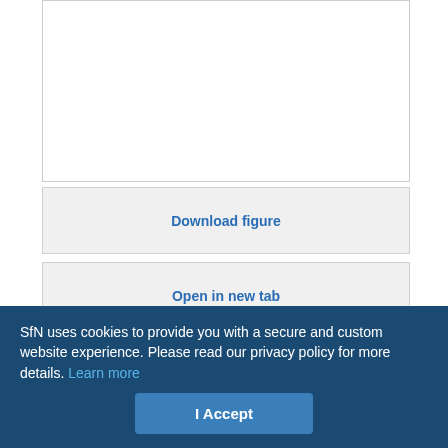[Figure (other): White empty figure box at top of page]
Download figure
Open in new tab
Download powerpoint
Figure 8. Refinements to the model shown in Figure 1 to account for the timing of the surround response. A, This hypothetical timing diagram can account for the presence of the onset delay for the CRF and its absence for the surround.
SfN uses cookies to provide you with a secure and custom website experience. Please read our privacy policy for more details. Learn more
I Accept